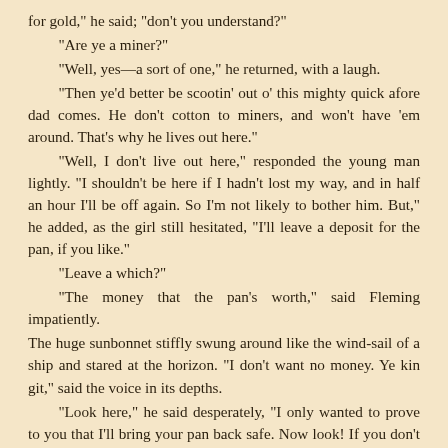for gold," he said; "don't you understand?"
"Are ye a miner?"
"Well, yes—a sort of one," he returned, with a laugh.
"Then ye'd better be scootin' out o' this mighty quick afore dad comes. He don't cotton to miners, and won't have 'em around. That's why he lives out here."
"Well, I don't live out here," responded the young man lightly. "I shouldn't be here if I hadn't lost my way, and in half an hour I'll be off again. So I'm not likely to bother him. But," he added, as the girl still hesitated, "I'll leave a deposit for the pan, if you like."
"Leave a which?"
"The money that the pan's worth," said Fleming impatiently.
The huge sunbonnet stiffly swung around like the wind-sail of a ship and stared at the horizon. "I don't want no money. Ye kin git," said the voice in its depths.
"Look here," he said desperately, "I only wanted to prove to you that I'll bring your pan back safe. Now look! If you don't like to take money, I'll leave this ring with you until I come back. There!" He slipped a small specimen ring, made out of his first gold findings, from his little finger.
The sunbonnet slowly swung around again and stared at the ring. Then the little red right hand reached forward, took the